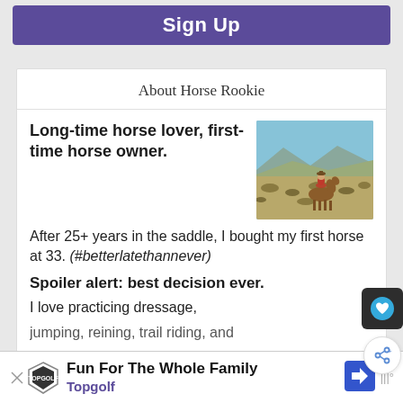[Figure (screenshot): Purple Sign Up button at top of webpage]
About Horse Rookie
Long-time horse lover, first-time horse owner.
[Figure (photo): Person on horseback riding through open scrubland with mountains in background]
After 25+ years in the saddle, I bought my first horse at 33. (#betterlatethannever)
Spoiler alert: best decision ever.
I love practicing dressage, jumping, reining, trail riding, and
[Figure (screenshot): Advertisement bar: Fun For The Whole Family - Topgolf]